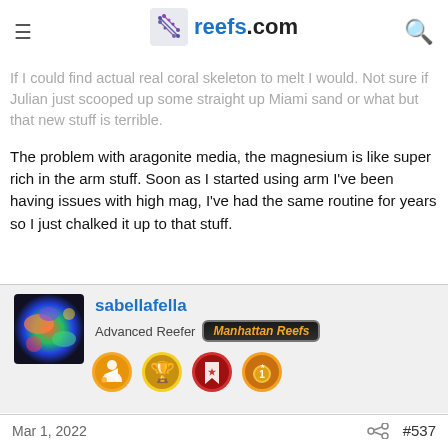reefs.com
aways found my way back to reefcrystals. Regular is good too. If I could find actual real coral skeleton to melt I would. Not sure if Julian just scooped up some straight up Miami sand or what but that new stuff is terrible.
The problem with aragonite media, the magnesium is like super rich in the arm stuff. Soon as I started using arm I've been having issues with high mag, I've had the same routine for years so I just chalked it up to that stuff.
sabellafella
Advanced Reefer  Manhattan Reefs
[Figure (photo): User avatar showing colorful coral closeup]
[Figure (infographic): Four achievement badge icons: orange person badge, gold trophy badge, red bookmark badge, orange medal badge]
Mar 1, 2022  #537
[Figure (photo): Blurred close-up photo of what appears to be coral or aragonite media in blue/purple tones]